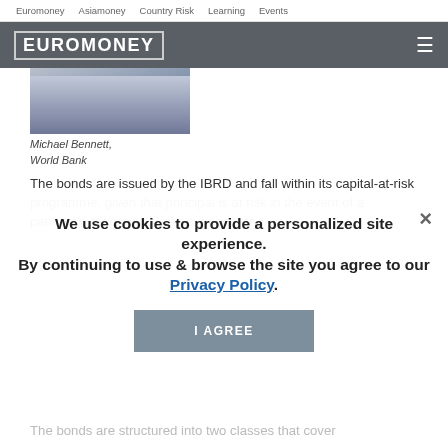Euromoney   Asiamoney   Country Risk   Learning   Events
[Figure (logo): Euromoney logo in white text on dark grey header bar with hamburger menu icon]
[Figure (photo): Photo of Michael Bennett from World Bank, man in suit]
Michael Bennett,
World Bank
The bonds are issued by the IBRD and fall within its capital-at-risk programme, given that principal is at risk in the event of a pandemic triggering a pay-out under the facility. Alongside the $320 million of bond financing and $1... counterparties. Exposure to IBRD is nothing new for... a special-purpose vehicle. You would often see the SPV buy IBRD bonds as collateral alongside treasury securities and money...
We use cookies to provide a personalized site experience.
By continuing to use & browse the site you agree to our Privacy Policy.
The bonds are structured into two classes that cover